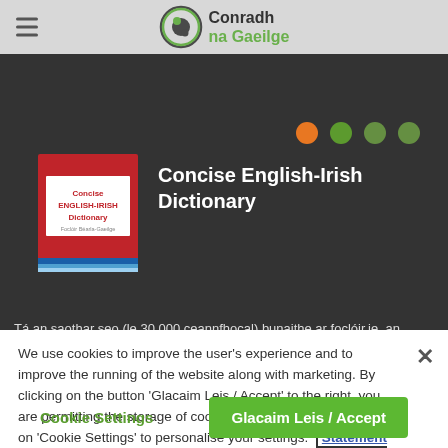Conradh na Gaeilge
[Figure (screenshot): Dark-background banner showing a red book cover for 'Concise English-Irish Dictionary' with four navigation dots (orange, green, green, green) and the book title in white text]
Tá an saothar seo (le 30,000 ceannfhocal) bunaithe ar foclóir.ie, an foclóir ar líne atá áirithe ar cheann de na tograí Gaeilge is uaillmhianaí agus is tábhachtaí dá raibh ann le
We use cookies to improve the user's experience and to improve the running of the website along with marketing. By clicking on the button 'Glacaim Leis / Accept' to the right, you are permitting the storage of cookies on your browser. Click on 'Cookie Settings' to personalise your settings.  Statement regarding Cookies
Cookie Settings
Glacaim Leis / Accept